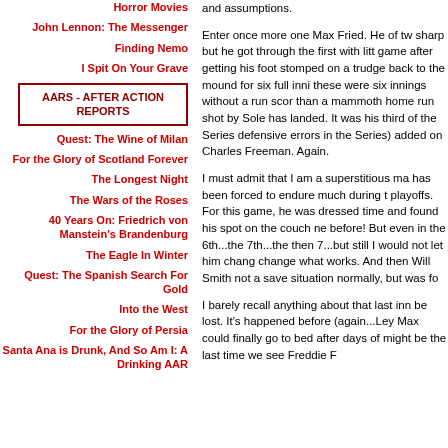Horror Movies
John Lennon: The Messenger
Finding Nemo
I Spit On Your Grave
AARS - AFTER ACTION REPORTS
Quest: The Wine of Milan
For the Glory of Scotland Forever
The Longest Night
The Wars of the Roses
40 Years On: Friedrich von Manstein's Brandenburg
The Eagle In Winter
Quest: The Spanish Search For Gold
Into the West
For the Glory of Persia
Santa Ana is Drunk, And So Am I: A Drinking AAR
and assumptions.
Enter once more one Max Fried. He of two sharp but he got through the first with little game after getting his foot stomped on a trudge back to the mound for six full inni these were six innings without a run sco than a mammoth home run shot by Sole has landed. It was his third of the Series defensive errors in the Series) added on Charles Freeman. Again.
I must admit that I am a superstitious ma has been forced to endure much during t playoffs. For this game, he was dressed time and found his spot on the couch ne before! But even in the 6th...the 7th...the then 7...but still I would not let him chang change what works. And then Will Smith not a save situation normally, but was fo
I barely recall anything about that last in be lost. It's happened before (again...Ley Max could finally go to bed after days of might be the last time we see Freddie F